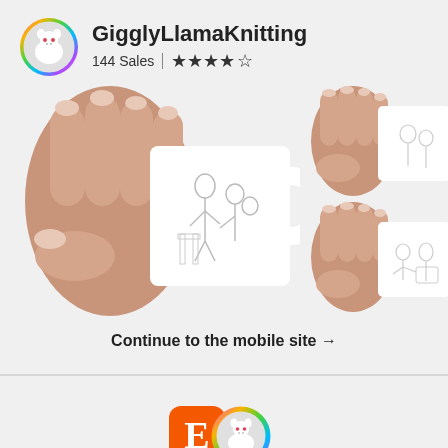GigglyLlamaKnitting
144 Sales | ★★★★☆
[Figure (photo): Three photos of hands holding white ceramic mugs printed with black-and-white sketched illustrations of Victorian/historical domestic scenes]
Continue to the mobile site →
[Figure (logo): Etsy orange square logo with 'E' overlapping with colorful llama avatar icon]
Shop updates are coming to the